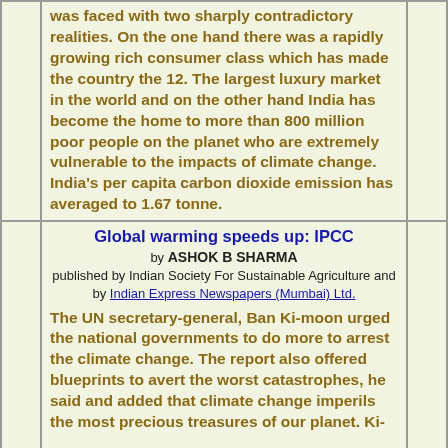was faced with two sharply contradictory realities. On the one hand there was a rapidly growing rich consumer class which has made the country the 12. The largest luxury market in the world and on the other hand India has become the home to more than 800 million poor people on the planet who are extremely vulnerable to the impacts of climate change. India's per capita carbon dioxide emission has averaged to 1.67 tonne.
Global warming speeds up: IPCC
by ASHOK B SHARMA
published by Indian Society For Sustainable Agriculture and by Indian Express Newspapers (Mumbai) Ltd.
The UN secretary-general, Ban Ki-moon urged the national governments to do more to arrest the climate change. The report also offered blueprints to avert the worst catastrophes, he said and added that climate change imperils the most precious treasures of our planet. Ki-